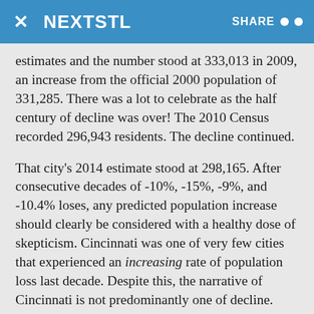NEXTSTL | SHARE
estimates and the number stood at 333,013 in 2009, an increase from the official 2000 population of 331,285. There was a lot to celebrate as the half century of decline was over! The 2010 Census recorded 296,943 residents. The decline continued.
That city’s 2014 estimate stood at 298,165. After consecutive decades of -10%, -15%, -9%, and -10.4% loses, any predicted population increase should clearly be considered with a healthy dose of skepticism. Cincinnati was one of very few cities that experienced an increasing rate of population loss last decade. Despite this, the narrative of Cincinnati is not predominantly one of decline.